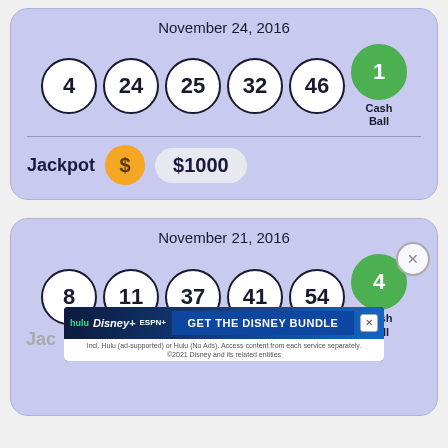November 24, 2016
[Figure (infographic): Lottery balls showing numbers 4, 24, 25, 32, 46 (white) and 1 (green Cash Ball)]
Jackpot $1000
November 21, 2016
[Figure (infographic): Lottery balls showing numbers 8, 11, 37, 41, 54 (white) and 4 (green Cash Ball)]
[Figure (infographic): Disney Bundle advertisement banner with Hulu, Disney+, ESPN+ logos and GET THE DISNEY BUNDLE CTA]